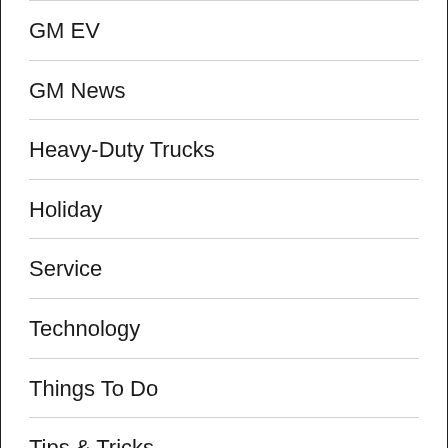GM EV
GM News
Heavy-Duty Trucks
Holiday
Service
Technology
Things To Do
Tips & Tricks
Travel
Uncategorized